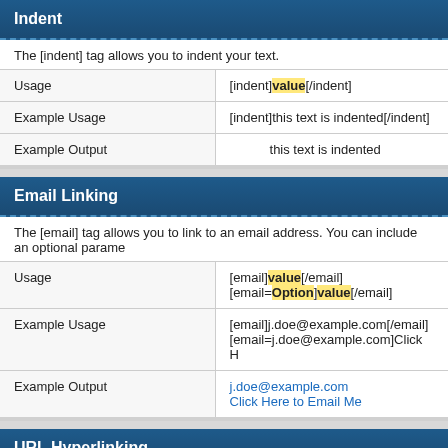Indent
The [indent] tag allows you to indent your text.
|  |  |
| --- | --- |
| Usage | [indent]value[/indent] |
| Example Usage | [indent]this text is indented[/indent] |
| Example Output | this text is indented |
Email Linking
The [email] tag allows you to link to an email address. You can include an optional parame
|  |  |
| --- | --- |
| Usage | [email]value[/email]
[email=Option]value[/email] |
| Example Usage | [email]j.doe@example.com[/email]
[email=j.doe@example.com]Click H |
| Example Output | j.doe@example.com
Click Here to Email Me |
URL Hyperlinking